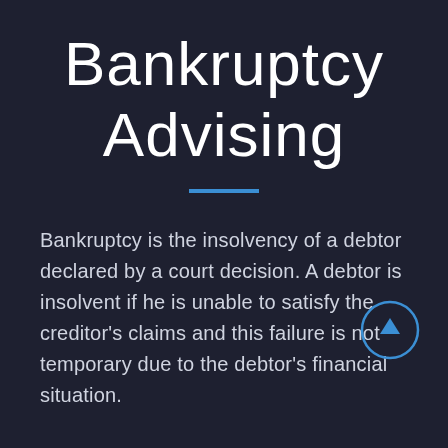Bankruptcy Advising
Bankruptcy is the insolvency of a debtor declared by a court decision. A debtor is insolvent if he is unable to satisfy the creditor's claims and this failure is not temporary due to the debtor's financial situation.
A debtor who is a legal person is insolvent even if the debtor's assets...